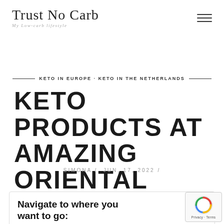Trust No Carb — My Low-carb Lifestyle
KETO IN EUROPE · KETO IN THE NETHERLANDS
KETO PRODUCTS AT AMAZING ORIENTAL
SIMONA / JUN, 17, 2022 /
Navigate to where you want to go: